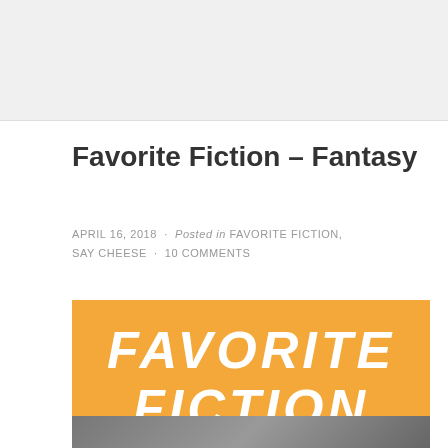Favorite Fiction – Fantasy
APRIL 16, 2018 · Posted in FAVORITE FICTION, SAY CHEESE · 10 COMMENTS
[Figure (illustration): Orange banner graphic with white hand-lettered text reading FAVORITE FICTION]
[Figure (photo): Partial photo at bottom of page, dark/grey tones]